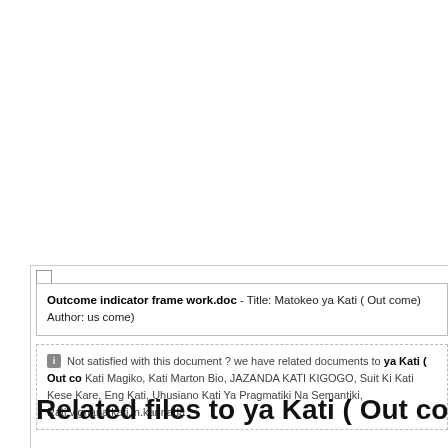Outcome indicator frame work.doc - Title: Matokeo ya Kati ( Out come) Author: us come)
Not satisfied with this document ? we have related documents to ya Kati ( Out co Kati Magiko, Kati Marton Bio, JAZANDA KATI KIGOGO, Suit Ki Kati Kese Kare, Eng Kati, Uhusiano Kati Ya Pragmatiki Na Semantiki, Rati.vignana.kati.in.kannada
Related files to ya Kati ( Out come) - Th